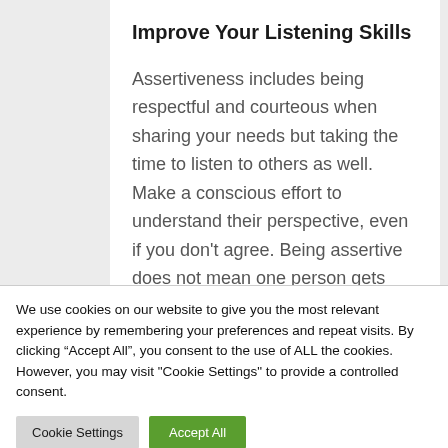Improve Your Listening Skills
Assertiveness includes being respectful and courteous when sharing your needs but taking the time to listen to others as well. Make a conscious effort to understand their perspective, even if you don't agree. Being assertive does not mean one person gets only what they want, but rather...
We use cookies on our website to give you the most relevant experience by remembering your preferences and repeat visits. By clicking “Accept All”, you consent to the use of ALL the cookies. However, you may visit "Cookie Settings" to provide a controlled consent.